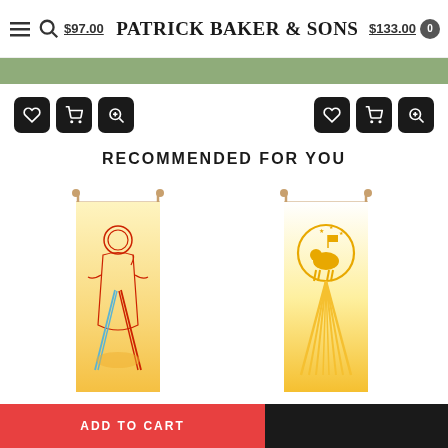Patrick Baker & Sons – $97.00 / $133.00
RECOMMENDED FOR YOU
[Figure (photo): Printed Banner 7144 – Divine Mercy banner with Jesus figure, red and blue outline on gold/white gradient background, hanging from wooden rod]
7144 – Printed Banner
$133.00
[Figure (photo): Printed Banner 7111 – Lamb of God banner with golden lamb and rays on white/gold gradient background, hanging from wooden rod]
7111 – Printed Banner
$133.00
ADD TO CART